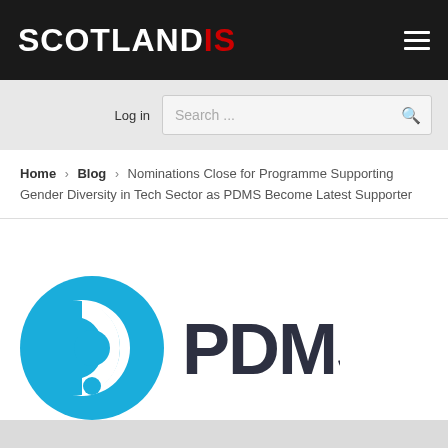SCOTLANDIS
Log in
Search ...
Home > Blog > Nominations Close for Programme Supporting Gender Diversity in Tech Sector as PDMS Become Latest Supporter
[Figure (logo): PDMS company logo — a blue circle with a white D-shaped icon on the left and the text 'PDMS' in dark charcoal on the right]